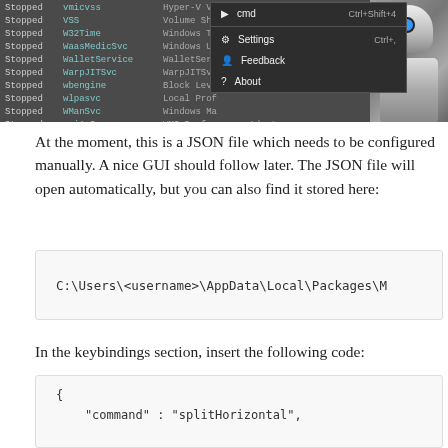[Figure (screenshot): Screenshot of a Windows terminal/services list showing stopped services (vmicvss, VSS, W32Time, WaasMedicSvc, WalletService, WarpJITSvc, wbengine, wlpasvc, WManSvc, wmiApSrv, WpcMonSvc) with a dropdown context menu showing options: cmd (Ctrl+Shift+4), Settings (Ctrl+,), Feedback, About. R2D2 robot visible on the right side.]
At the moment, this is a JSON file which needs to be configured manually. A nice GUI should follow later. The JSON file will open automatically, but you can also find it stored here:
C:\Users\<username>\AppData\Local\Packages\M
In the keybindings section, insert the following code:
{
    "command" : "splitHorizontal",